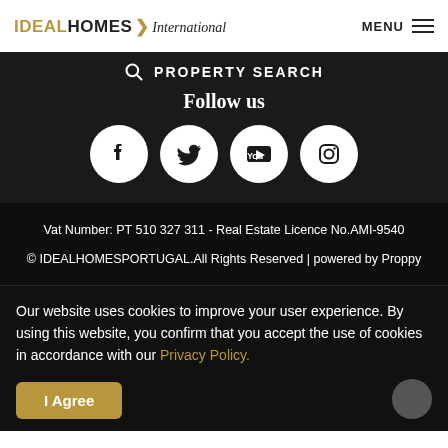IDEAL HOMES International | MENU
PROPERTY SEARCH
Follow us
[Figure (infographic): Four social media icons in white circles on dark background: Facebook, Twitter, YouTube, Instagram]
Vat Number: PT 510 327 311 - Real Estate Licence No.AMI-9540
© IDEALHOMESPORTUGAL.All Rights Reserved | powered by Proppy
Our website uses cookies to improve your user experience. By using this website, you confirm that you accept the use of cookies in accordance with our Privacy Policy.
I Agree